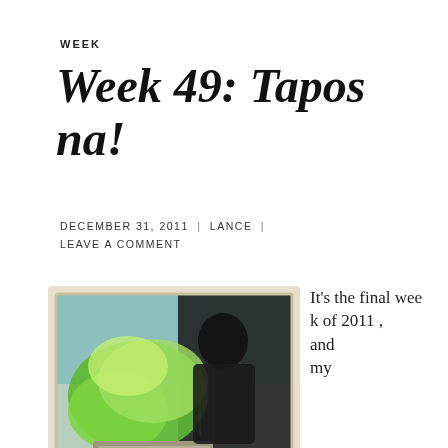WEEK
Week 49: Tapos na!
DECEMBER 31, 2011 | LANCE | LEAVE A COMMENT
[Figure (photo): A polaroid-style photo of green leafy plants (possibly lily of the valley or similar) in a planter, with the silhouette of a person in the background. The image has a vintage teal/blue-green tint with faded borders.]
It's the final week of 2011 , and my